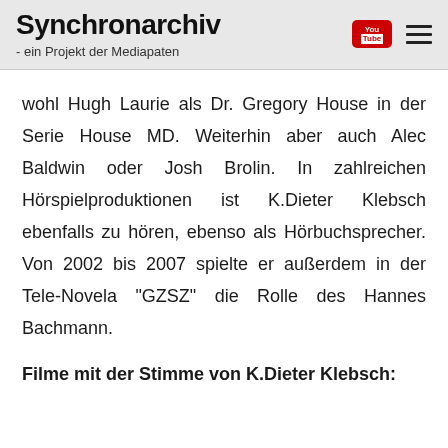Synchronarchiv - ein Projekt der Mediapaten
wohl Hugh Laurie als Dr. Gregory House in der Serie House MD. Weiterhin aber auch Alec Baldwin oder Josh Brolin. In zahlreichen Hörspielproduktionen ist K.Dieter Klebsch ebenfalls zu hören, ebenso als Hörbuchsprecher. Von 2002 bis 2007 spielte er außerdem in der Tele-Novela "GZSZ" die Rolle des Hannes Bachmann.
Filme mit der Stimme von K.Dieter Klebsch: